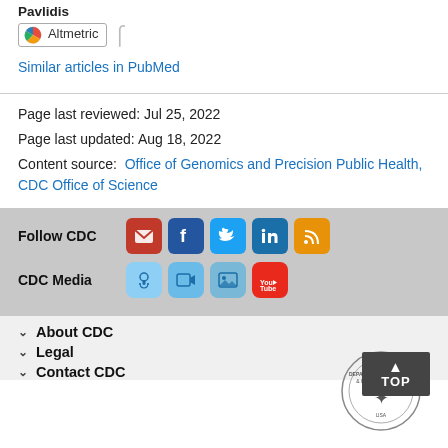Pavlidis
[Figure (other): Altmetric badge with rainbow logo]
Similar articles in PubMed
Page last reviewed: Jul 25, 2022
Page last updated: Aug 18, 2022
Content source:  Office of Genomics and Precision Public Health, CDC Office of Science
Follow CDC
[Figure (other): Social media icons: email, Facebook, Twitter, LinkedIn, RSS]
CDC Media
[Figure (other): Media icons: podcast, video, photos, YouTube]
About CDC
Legal
Contact CDC
[Figure (logo): HHS Department of Health and Human Services circular seal logo]